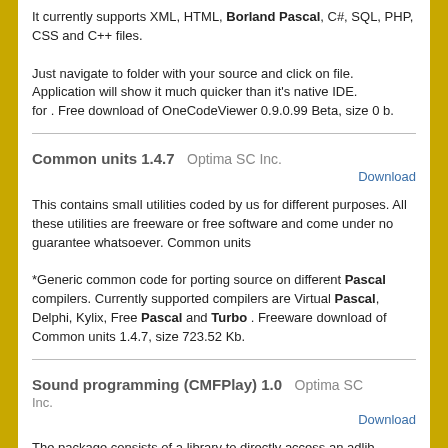It currently supports XML, HTML, Borland Pascal, C#, SQL, PHP, CSS and C++ files.

Just navigate to folder with your source and click on file. Application will show it much quicker than it's native IDE.
for . Free download of OneCodeViewer 0.9.0.99 Beta, size 0 b.
Common units 1.4.7   Optima SC Inc.
Download
This contains small utilities coded by us for different purposes. All these utilities are freeware or free software and come under no guarantee whatsoever. Common units

*Generic common code for porting source on different Pascal compilers. Currently supported compilers are Virtual Pascal, Delphi, Kylix, Free Pascal and Turbo . Freeware download of Common units 1.4.7, size 723.52 Kb.
Sound programming (CMFPlay) 1.0   Optima SC Inc.
Download
The package consists of a library to directly access an adlib compatible sound-card under MS-DOS, as well as some music players, for CMF, SA2 and SCR file musical file formats. The source code is included and consists of Object Pascal code (compatible wityh Borland Pascal). The package is no longer being actively maintained. . Free download of Sound programming (CMFPlay) 1.0, size 104.86 Kb.
Freeware and free software Utilities 1.4.7